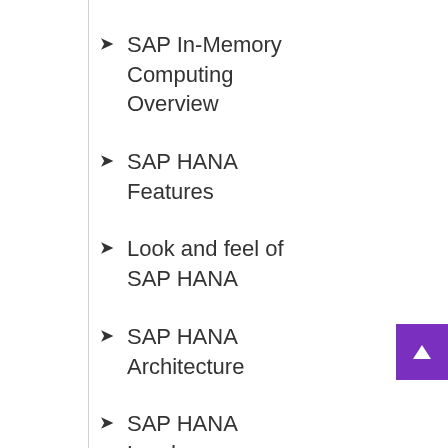SAP In-Memory Computing Overview
SAP HANA Features
Look and feel of SAP HANA
SAP HANA Architecture
SAP HANA Landscape